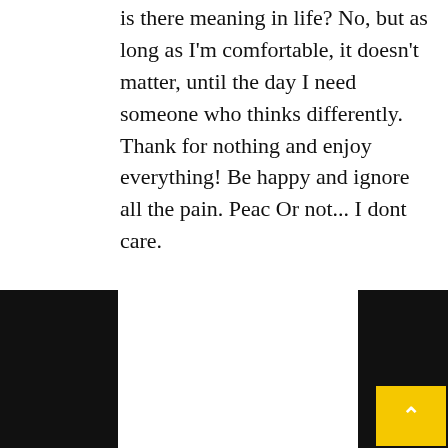is there meaning in life? No, but as long as I'm comfortable, it doesn't matter, until the day I need someone who thinks differently. Thank for nothing and enjoy everything! Be happy and ignore all the pain. Peac Or not... I dont care.
Reply
PREVIOUS POST
NEXT POST
Comicus Muo
3rd April 2021 at 11:50 am
hi Eduardo, thanks fo comment. Nihilism is